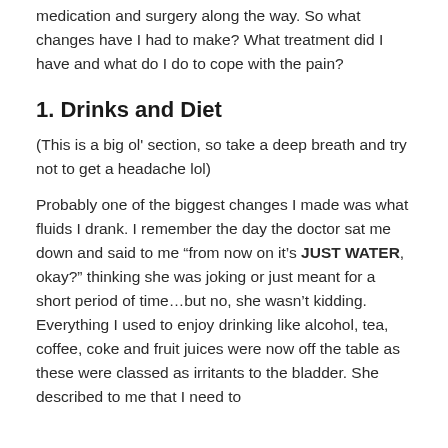medication and surgery along the way. So what changes have I had to make? What treatment did I have and what do I do to cope with the pain?
1. Drinks and Diet
(This is a big ol' section, so take a deep breath and try not to get a headache lol)
Probably one of the biggest changes I made was what fluids I drank. I remember the day the doctor sat me down and said to me "from now on it's JUST WATER, okay?" thinking she was joking or just meant for a short period of time…but no, she wasn't kidding. Everything I used to enjoy drinking like alcohol, tea, coffee, coke and fruit juices were now off the table as these were classed as irritants to the bladder. She described to me that I need to